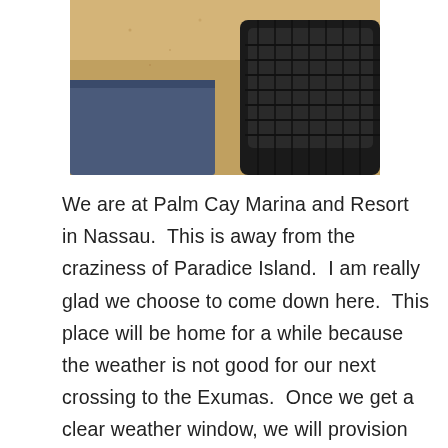[Figure (photo): Beach scene photo showing sand, a dark wicker/rattan chair, and what appears to be a blue mat or towel in the foreground. Bright sandy beach visible in background.]
We are at Palm Cay Marina and Resort in Nassau.  This is away from the craziness of Paradice Island.  I am really glad we choose to come down here.  This place will be home for a while because the weather is not good for our next crossing to the Exumas.  Once we get a clear weather window, we will provision the boat and head to our next destination. We are in heaven here.  This place is just beautiful and totally quiet. Boaters come in and out of the harbor and it's fun to see all the different style of boats here. More than ever around the area...